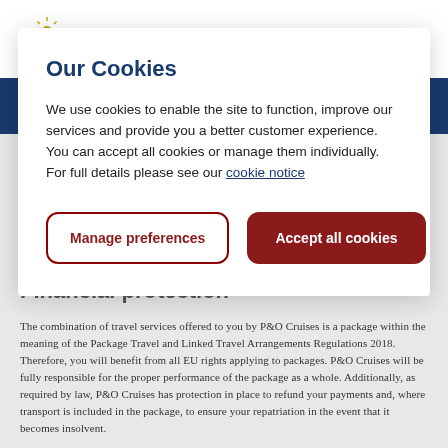[Figure (logo): P&O Cruises logo with sun/star graphic above text]
Our Cookies
We use cookies to enable the site to function, improve our services and provide you a better customer experience. You can accept all cookies or manage them individually. For full details please see our cookie notice
Manage preferences
Accept all cookies
Financial protection
The combination of travel services offered to you by P&O Cruises is a package within the meaning of the Package Travel and Linked Travel Arrangements Regulations 2018. Therefore, you will benefit from all EU rights applying to packages. P&O Cruises will be fully responsible for the proper performance of the package as a whole. Additionally, as required by law, P&O Cruises has protection in place to refund your payments and, where transport is included in the package, to ensure your repatriation in the event that it becomes insolvent.